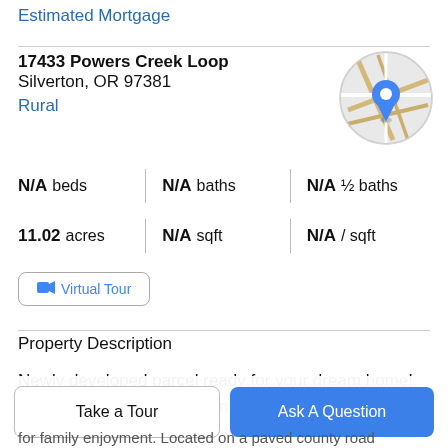Estimated Mortgage
17433 Powers Creek Loop
Silverton, OR 97381
Rural
[Figure (map): Circular map thumbnail with a blue location pin marker, showing streets on a light gray/beige background]
N/A beds   N/A baths   N/A ½ baths
11.02 acres   N/A sqft   N/A / sqft
Virtual Tour
Property Description
Newly developed parcel ready for your dream home! Canyon view and creek frontage. 11 acres with mature
for family enjoyment. Located on a paved county road
Take a Tour
Ask A Question